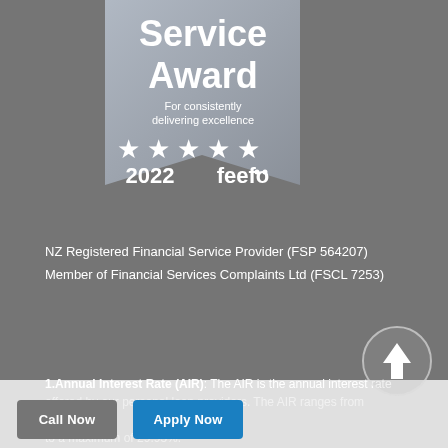[Figure (logo): Feefo Service Award 2022 badge: silver ribbon shape with text 'Service Award', 'For consistently delivering excellence', five white stars, '2022' and 'feefo' logo]
NZ Registered Financial Service Provider (FSP 564207)
Member of Financial Services Complaints Ltd (FSCL 7253)
1.Annual Interest Rate (AIR): The AIR is the annual interest rate offered by our personal loan providers. The AIR ranges from 6.99% to a maximum of 29.95%.
[Figure (illustration): Circular button with upward arrow inside, gray background with white arrow, used for scroll-to-top navigation]
Call Now
Apply Now